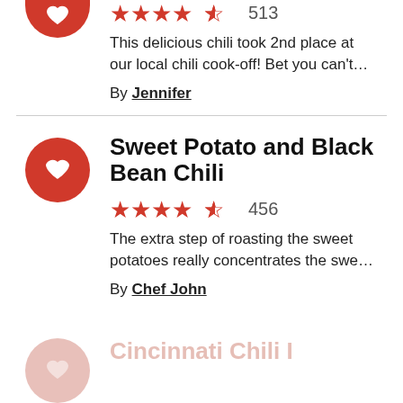[Figure (other): Red circular icon with heart symbol (partially visible at top)]
513
This delicious chili took 2nd place at our local chili cook-off! Bet you can't...
By Jennifer
Sweet Potato and Black Bean Chili
456
The extra step of roasting the sweet potatoes really concentrates the swe...
By Chef John
Cincinnati Chili I